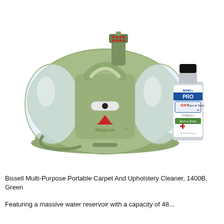[Figure (photo): Bissell Little Green portable carpet and upholstery cleaner (green dome-shaped machine with transparent water tanks and a spray attachment on top) shown alongside a bottle of Bissell Pro OXY Spot and Stain cleaning solution.]
Bissell Multi-Purpose Portable Carpet And Upholstery Cleaner, 1400B, Green
Featuring a massive water reservoir with a capacity of 48...